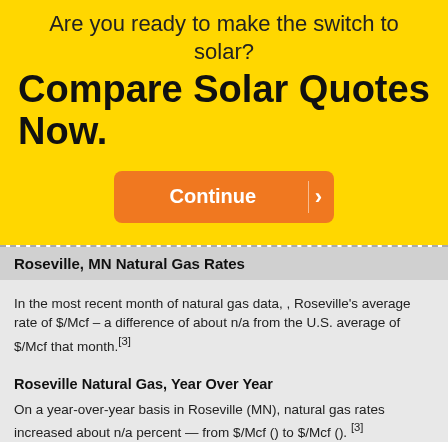Are you ready to make the switch to solar?
Compare Solar Quotes Now.
[Figure (other): Orange Continue button with arrow]
Roseville, MN Natural Gas Rates
In the most recent month of natural gas data, , Roseville's average rate of $/Mcf – a difference of about n/a from the U.S. average of $/Mcf that month.[3]
Roseville Natural Gas, Year Over Year
On a year-over-year basis in Roseville (MN), natural gas rates increased about n/a percent — from $/Mcf () to $/Mcf (). [3]